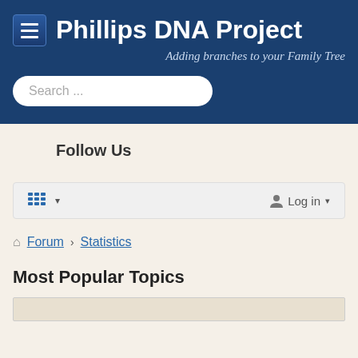[Figure (screenshot): Website header for Phillips DNA Project with hamburger menu icon, site title, subtitle, and search bar on dark blue background]
Follow Us
[Figure (screenshot): Toolbar with grid/list icon dropdown on left and Log in dropdown on right]
Forum > Statistics
Most Popular Topics